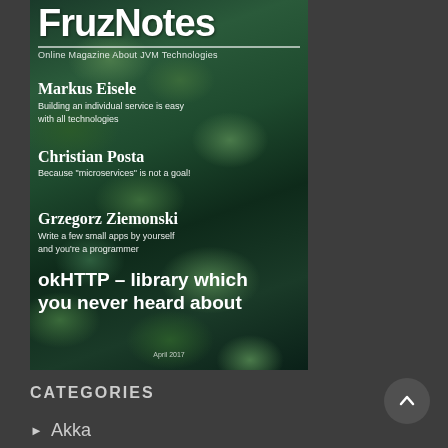[Figure (illustration): Magazine cover of FruzNotes - Online Magazine About JVM Technologies, April 2017. Features a dark green leafy plant background with white text listing authors: Markus Eisele (Building an individual service is easy with all technologies), Christian Posta (Because "microservices" is not a goal!), Grzegorz Ziemonski (Write a few small apps by yourself and you're a programmer), and headline: okHTTP – library which you never heard about.]
CATEGORIES
Akka